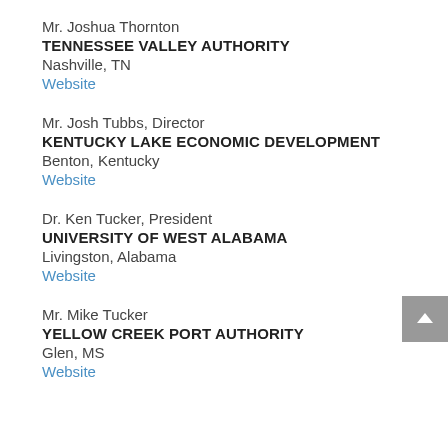Mr. Joshua Thornton
TENNESSEE VALLEY AUTHORITY
Nashville, TN
Website
Mr. Josh Tubbs, Director
KENTUCKY LAKE ECONOMIC DEVELOPMENT
Benton, Kentucky
Website
Dr. Ken Tucker, President
UNIVERSITY OF WEST ALABAMA
Livingston, Alabama
Website
Mr. Mike Tucker
YELLOW CREEK PORT AUTHORITY
Glen, MS
Website